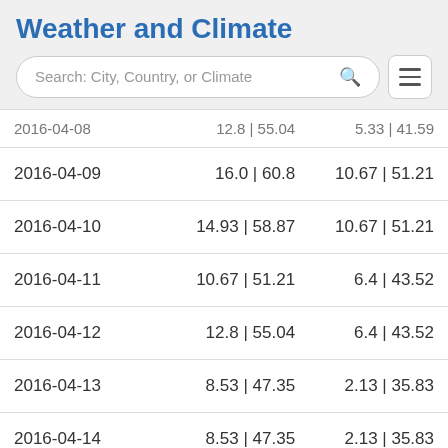Weather and Climate
| Date | Max Temp | Min Temp |
| --- | --- | --- |
| 2016-04-08 | 12.8 | 55.04 | 5.33 | 41.59 |
| 2016-04-09 | 16.0 | 60.8 | 10.67 | 51.21 |
| 2016-04-10 | 14.93 | 58.87 | 10.67 | 51.21 |
| 2016-04-11 | 10.67 | 51.21 | 6.4 | 43.52 |
| 2016-04-12 | 12.8 | 55.04 | 6.4 | 43.52 |
| 2016-04-13 | 8.53 | 47.35 | 2.13 | 35.83 |
| 2016-04-14 | 8.53 | 47.35 | 2.13 | 35.83 |
| 2016-04-15 | 8.6 | 49.08 | 2.0 | 37.76 |